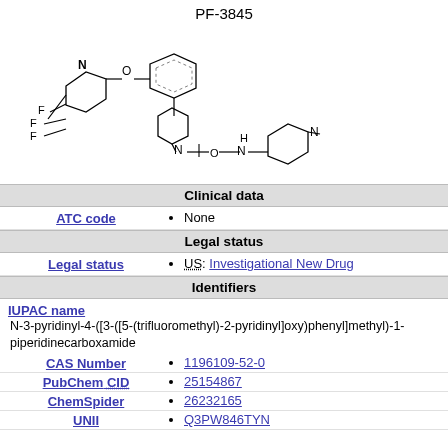PF-3845
[Figure (illustration): Chemical structure diagram of PF-3845 showing a piperidine core with a benzyl group connected to a pyridinyloxy-trifluoromethyl-pyridine on one side and a pyridinyl amide on the other.]
Clinical data
|  |  |
| --- | --- |
| ATC code | None |
Legal status
|  |  |
| --- | --- |
| Legal status | US: Investigational New Drug |
Identifiers
IUPAC name
N-3-pyridinyl-4-([3-([5-(trifluoromethyl)-2-pyridinyl]oxy)phenyl]methyl)-1-piperidinecarboxamide
|  |  |
| --- | --- |
| CAS Number | 1196109-52-0 |
| PubChem CID | 25154867 |
| ChemSpider | 26232165 |
| UNII | Q3PW846TYN |